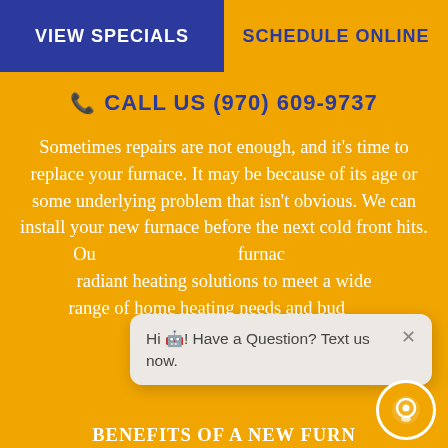VIEW SPECIALS
SCHEDULE ONLINE
CALL US (970) 609-9737
Sometimes repairs are not enough, and it's time to replace your furnace. It may be because of its age or some underlying problem that isn't obvious. We can install your new furnace before the next cold front hits. Our [selection of] furnace[s includes] radiant heating solutions to meet a wide range of home heating needs and bud[gets].
Hi 🤖! Have a Question? Text us now.
BENEFITS OF A NEW FURNACE